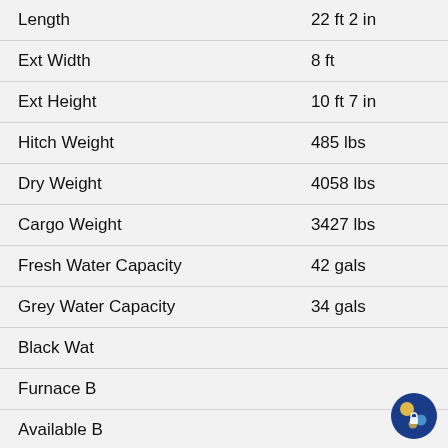| Specification | Value |
| --- | --- |
| Length | 22 ft 2 in |
| Ext Width | 8 ft |
| Ext Height | 10 ft 7 in |
| Hitch Weight | 485 lbs |
| Dry Weight | 4058 lbs |
| Cargo Weight | 3427 lbs |
| Fresh Water Capacity | 42 gals |
| Grey Water Capacity | 34 gals |
| Black Water Capacity | (partially visible) |
| Furnace BTU | (partially visible) |
| Available Beds | (partially visible) |
| Refrigerator Type | Large Two Door |
[Figure (screenshot): Chat popup overlay with avatar photo of a woman, text 'Have a question? Text us here!', a close (X) button, a 'Text us.' button, and a globe/network icon button.]
Similar Floorplans
U Shaped Dinette
Front Bedroom